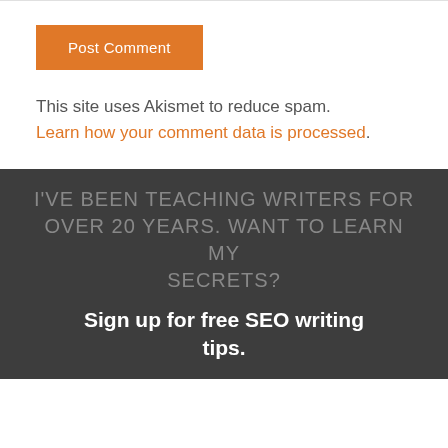Post Comment
This site uses Akismet to reduce spam. Learn how your comment data is processed.
I'VE BEEN TEACHING WRITERS FOR OVER 20 YEARS. WANT TO LEARN MY SECRETS?
Sign up for free SEO writing tips.